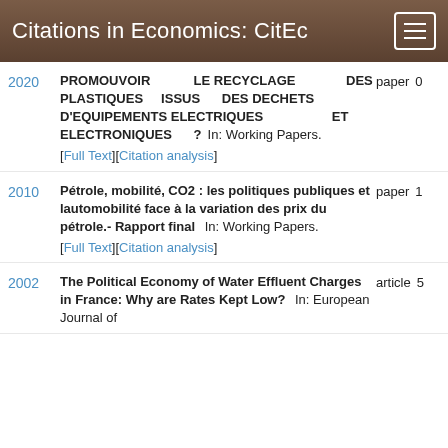Citations in Economics: CitEc
2020 | PROMOUVOIR LE RECYCLAGE DES PLASTIQUES ISSUS DES DECHETS D'EQUIPEMENTS ELECTRIQUES ET ELECTRONIQUES ? In: Working Papers. [Full Text][Citation analysis] | paper 0
2010 | Pétrole, mobilité, CO2 : les politiques publiques et lautomobilité face à la variation des prix du pétrole.- Rapport final In: Working Papers. [Full Text][Citation analysis] | paper 1
2002 | The Political Economy of Water Effluent Charges in France: Why are Rates Kept Low? In: European Journal of | article 5